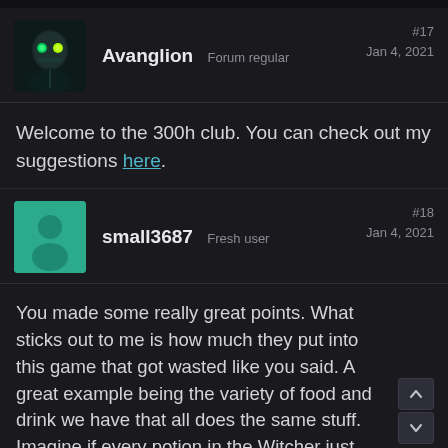Avanglion Forum regular #17 Jan 4, 2021
Welcome to the 300h club. You can check out my suggestions here.
small3687 Fresh user #18 Jan 4, 2021
You made some really great points. What sticks out to me is how much they put into this game that got wasted like you said. A great example being the variety of food and drink we have that all does the same stuff. Imagine if every potion in the Witcher just made you 10percent faster lol